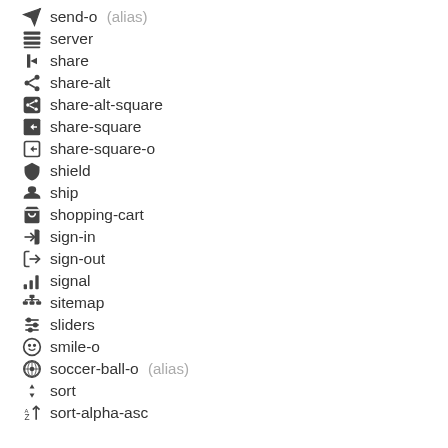send-o (alias)
server
share
share-alt
share-alt-square
share-square
share-square-o
shield
ship
shopping-cart
sign-in
sign-out
signal
sitemap
sliders
smile-o
soccer-ball-o (alias)
sort
sort-alpha-asc